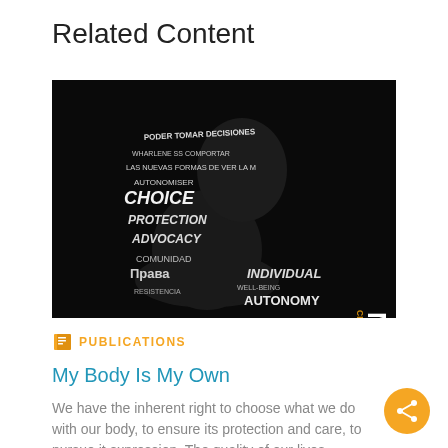Related Content
[Figure (photo): Book cover for 'My Body Is My Own: Claiming the Right to Autonomy' — black background with a silhouette of a person made up of text words including CHOICE, PROTECTION, ADVOCACY, AUTONOMY, INDIVIDUAL in multiple languages. The title 'MY BODY' appears vertically on the right side in large white letters, and 'CLAIMING THE RIGHT TO AUTO' runs vertically in gold/orange text.]
PUBLICATIONS
My Body Is My Own
We have the inherent right to choose what we do with our body, to ensure its protection and care, to pursue it expression. The quality of our lives...